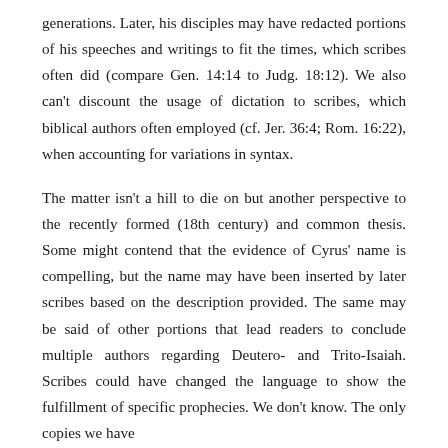generations. Later, his disciples may have redacted portions of his speeches and writings to fit the times, which scribes often did (compare Gen. 14:14 to Judg. 18:12). We also can't discount the usage of dictation to scribes, which biblical authors often employed (cf. Jer. 36:4; Rom. 16:22), when accounting for variations in syntax.
The matter isn't a hill to die on but another perspective to the recently formed (18th century) and common thesis. Some might contend that the evidence of Cyrus' name is compelling, but the name may have been inserted by later scribes based on the description provided. The same may be said of other portions that lead readers to conclude multiple authors regarding Deutero- and Trito-Isaiah. Scribes could have changed the language to show the fulfillment of specific prophecies. We don't know. The only copies we have